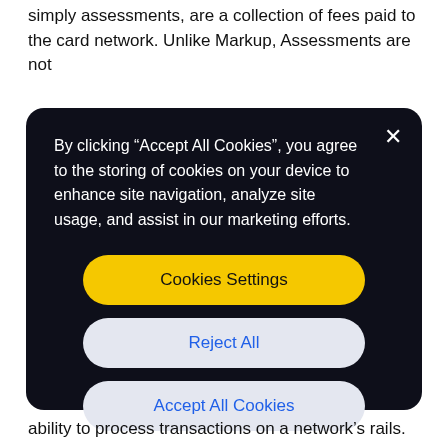simply assessments, are a collection of fees paid to the card network. Unlike Markup, Assessments are not
[Figure (screenshot): Cookie consent modal dialog with dark background. Contains text: 'By clicking "Accept All Cookies", you agree to the storing of cookies on your device to enhance site navigation, analyze site usage, and assist in our marketing efforts.' Three buttons: 'Cookies Settings' (yellow), 'Reject All' (white/gray), 'Accept All Cookies' (white/gray). Close X button in top-right corner.]
ability to process transactions on a network's rails.